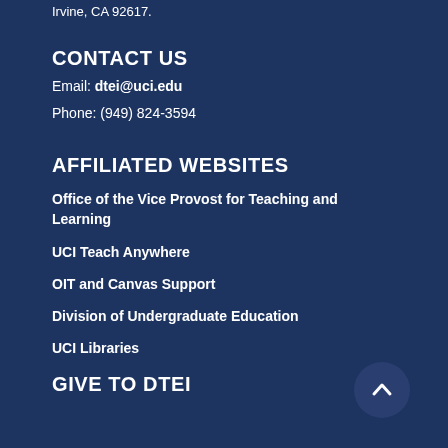Irvine, CA 92617.
CONTACT US
Email: dtei@uci.edu
Phone: (949) 824-3594
AFFILIATED WEBSITES
Office of the Vice Provost for Teaching and Learning
UCI Teach Anywhere
OIT and Canvas Support
Division of Undergraduate Education
UCI Libraries
GIVE TO DTEI